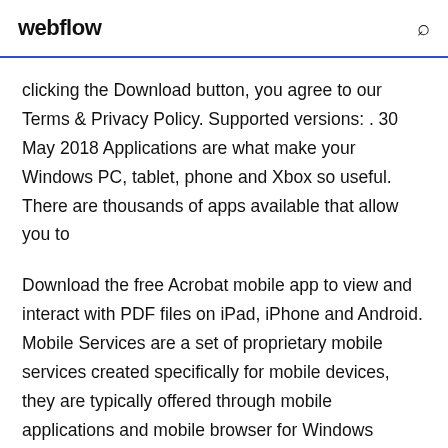webflow
clicking the Download button, you agree to our Terms & Privacy Policy. Supported versions: . 30 May 2018 Applications are what make your Windows PC, tablet, phone and Xbox so useful. There are thousands of apps available that allow you to
Download the free Acrobat mobile app to view and interact with PDF files on iPad, iPhone and Android. Mobile Services are a set of proprietary mobile services created specifically for mobile devices, they are typically offered through mobile applications and mobile browser for Windows Phone,